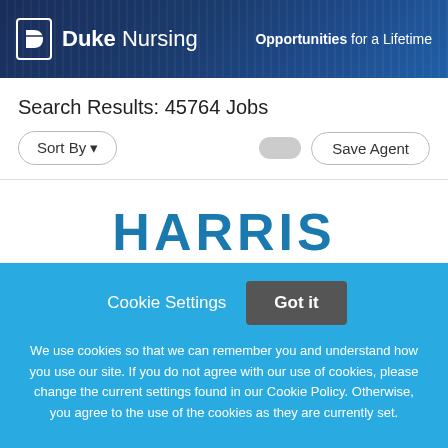[Figure (logo): Duke Nursing logo with shield icon and text 'Opportunities for a Lifetime' on dark blue banner]
Search Results: 45764 Jobs
Sort By ▼
Save Agent
HARRIS (partial, cut off)
Cookie Settings   Got it
We use cookies so that we can remember you and understand how you use our site. If you do not agree with our use of cookies, please change the current settings found in our Cookie Policy. Otherwise, you agree to the use of the cookies as they are currently set.